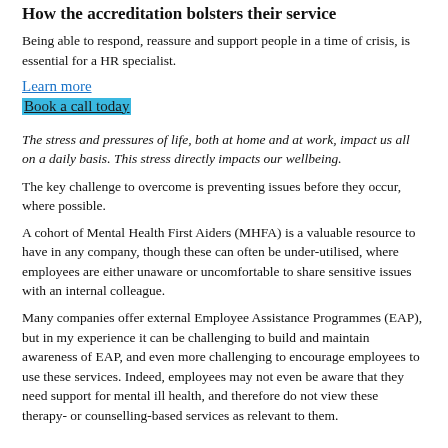How the accreditation bolsters their service
Being able to respond, reassure and support people in a time of crisis, is essential for a HR specialist.
Learn more
Book a call today
The stress and pressures of life, both at home and at work, impact us all on a daily basis. This stress directly impacts our wellbeing.
The key challenge to overcome is preventing issues before they occur, where possible.
A cohort of Mental Health First Aiders (MHFA) is a valuable resource to have in any company, though these can often be under-utilised, where employees are either unaware or uncomfortable to share sensitive issues with an internal colleague.
Many companies offer external Employee Assistance Programmes (EAP), but in my experience it can be challenging to build and maintain awareness of EAP, and even more challenging to encourage employees to use these services. Indeed, employees may not even be aware that they need support for mental ill health, and therefore do not view these therapy- or counselling-based services as relevant to them.